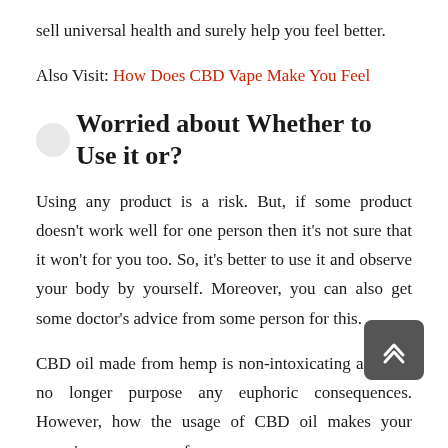sell universal health and surely help you feel better.
Also Visit: How Does CBD Vape Make You Feel
Worried about Whether to Use it or?
Using any product is a risk. But, if some product doesn't work well for one person then it's not sure that it won't for you too. So, it's better to use it and observe your body by yourself. Moreover, you can also get some doctor's advice from some person for this.
CBD oil made from hemp is non-intoxicating and will no longer purpose any euphoric consequences. However, how the usage of CBD oil makes your experience can range from